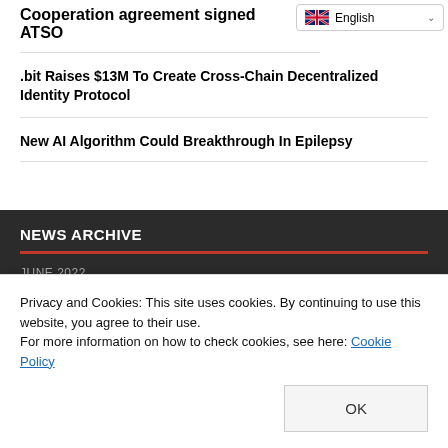Cooperation agreement signed ATSO
.bit Raises $13M To Create Cross-Chain Decentralized Identity Protocol
New AI Algorithm Could Breakthrough In Epilepsy
NEWS ARCHIVE
JUNE 2022
| B | S | C | B | C | C | B |
| --- | --- | --- | --- | --- | --- | --- |
|  |
Privacy and Cookies: This site uses cookies. By continuing to use this website, you agree to their use.
For more information on how to check cookies, see here: Cookie Policy
OK